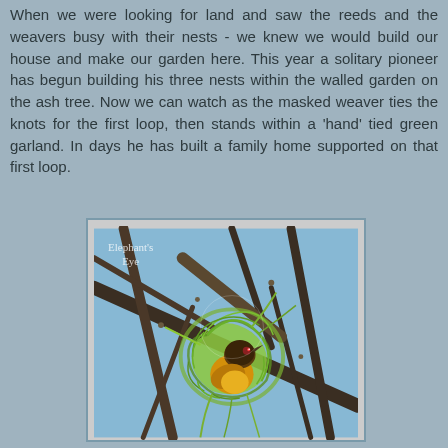When we were looking for land and saw the reeds and the weavers busy with their nests - we knew we would build our house and make our garden here. This year a solitary pioneer has begun building his three nests within the walled garden on the ash tree. Now we can watch as the masked weaver ties the knots for the first loop, then stands within a 'hand' tied green garland. In days he has built a family home supported on that first loop.
[Figure (photo): A masked weaver bird perched inside a partially constructed woven nest made of green reeds/grass, hanging from bare tree branches against a blue sky. Watermark reads 'Elephant's Eye'.]